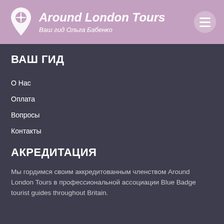Around London Tours — Ваш гид Ольга Бабенко
ВАШ ГИД
О Нас
Оплата
Вопросы
Контакты
АКРЕДИТАЦИЯ
Мы гордимся своим аккредитованным членством Around London Tours в профессиональной ассоциации Blue Badge tourist guides throughout Britain.